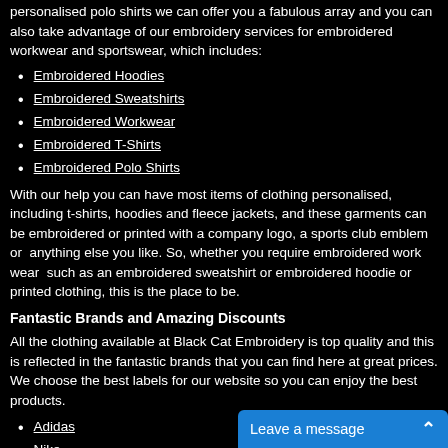personalised polo shirts we can offer you a fabulous array and you can also take advantage of our embroidery services for embroidered workwear and sportswear, which includes:
Embroidered Hoodies
Embroidered Sweatshirts
Embroidered Workwear
Embroidered T-Shirts
Embroidered Polo Shirts
With our help you can have most items of clothing personalised,  including t-shirts, hoodies and fleece jackets, and these garments can  be embroidered or printed with a company logo, a sports club emblem or  anything else you like. So, whether you require embroidered work wear  such as an embroidered sweatshirt or embroidered hoodie or printed clothing, this is the place to be.
Fantastic Brands and Amazing Discounts
All the clothing available at Black Cat Embroidery is top quality and this is reflected in the fantastic brands that you can find here at great prices. We choose the best labels for our website so you can enjoy the best products.
Adidas
Nike
Snickers
Fruit of the Loom
Regatta